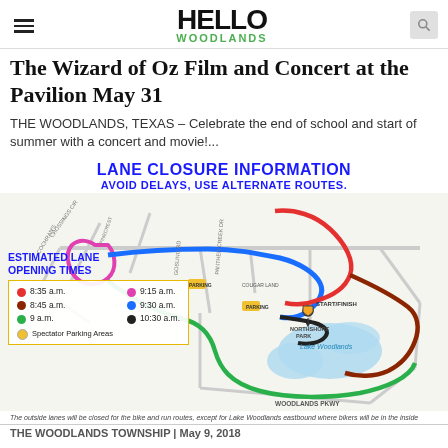Hello Woodlands
The Wizard of Oz Film and Concert at the Pavilion May 31
THE WOODLANDS, TEXAS – Celebrate the end of school and start of summer with a concert and movie!...
LANE CLOSURE INFORMATION
AVOID DELAYS, USE ALTERNATE ROUTES.
[Figure (map): Color-coded lane closure map of The Woodlands area showing road routes with colored lines indicating estimated lane opening times (8:35am red, 8:45am dark red/brown, 9am green, 9:15am pink/magenta, 9:30am blue, 10:30am black), yellow areas for Spectator Parking, and a Start/Finish marker near Northshore Park area with surrounding roads and Lake Woodlands waterway.]
The outside lanes will be closed for the bike and run routes, except for Lake Woodlands eastbound where bikers will be in the inside
THE WOODLANDS TOWNSHIP | May 9, 2018